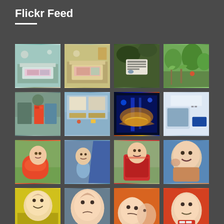Flickr Feed
[Figure (photo): Grid of 16 photos showing hospital rooms, outdoor playground, play areas, colorful light display, bathroom, children playing on playground equipment, and close-up portraits of children]
[Figure (photo): Hospital/care facility bedroom with colorful bedding]
[Figure (photo): Another hospital/care facility bedroom with colorful bedding]
[Figure (photo): Wooden Spoon charity sign among greenery]
[Figure (photo): Outdoor playground with trees and play equipment]
[Figure (photo): Outdoor playground with blue shelter and colorful climbing frames]
[Figure (photo): Indoor playroom with blue carpet and toys]
[Figure (photo): Colorful light display with blue and orange/yellow lights]
[Figure (photo): Accessible bathroom with bath and toilet]
[Figure (photo): Young child in red toy car on grass]
[Figure (photo): Child on blue slide]
[Figure (photo): Young girl in red dotted coat on playground]
[Figure (photo): Close-up of smiling child lying down with toy]
[Figure (photo): Young child looking up with yellow background]
[Figure (photo): Older child looking up outdoors]
[Figure (photo): Baby with adult - colorful scene]
[Figure (photo): Young child in red striped top looking up]